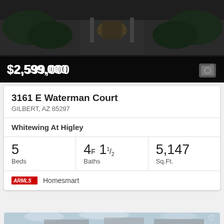[Figure (photo): Aerial/driveway view of luxury home at night with lit path and garage]
$2,599,000
83
3161 E Waterman Court
GILBERT, AZ 85297
Whitewing At Higley
5 Beds
4F 1 1/2 Baths
5,147 Sq.Ft.
ARMLS Homesmart
[Figure (photo): Exterior rendering of white modern home with dark roof and garage]